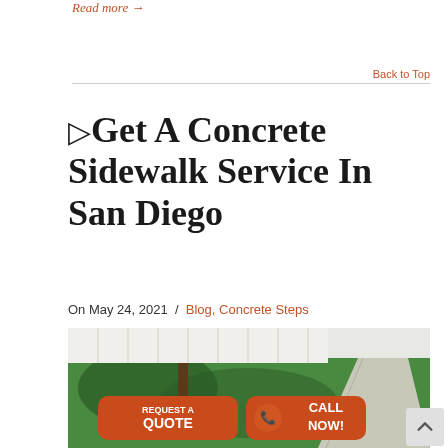Read more →
Back to Top
▷Get A Concrete Sidewalk Service In San Diego
On May 24, 2021  /  Blog, Concrete Steps
[Figure (photo): Outdoor sidewalk scene with green lawn, trees casting shadows, a concrete pathway, and a white fence in the background. Overlaid with two orange call-to-action buttons: 'REQUEST A QUOTE' and 'CALL NOW!' with a phone icon.]